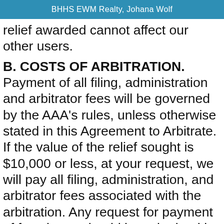BHHS EWM Realty, Johana Wolf
relief awarded cannot affect our other users.
B. COSTS OF ARBITRATION. Payment of all filing, administration and arbitrator fees will be governed by the AAA's rules, unless otherwise stated in this Agreement to Arbitrate. If the value of the relief sought is $10,000 or less, at your request, we will pay all filing, administration, and arbitrator fees associated with the arbitration. Any request for payment of fees by us should be submitted by mail to the AAA along with your Demand for Arbitration and we will make arrangements to pay all necessary fees directly to the AAA. If the value of the relief sought is more than $10,000 and you are able to demonstrate that the costs of arbitration